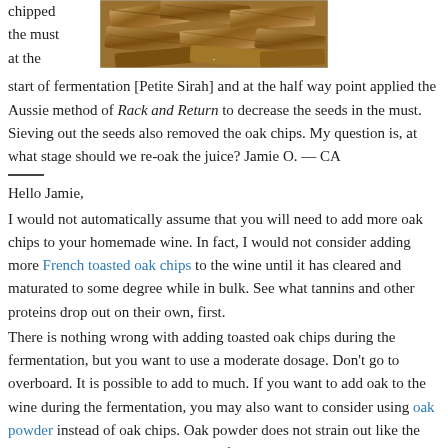chipped the must at the start of fermentation [Petite Sirah] and at the half way point applied the Aussie method of Rack and Return to decrease the seeds in the must. Sieving out the seeds also removed the oak chips. My question is, at what stage should we re-oak the juice? Jamie O. — CA
[Figure (photo): Photo of wood/oak chips, showing multiple pieces of brown toasted wood chips stacked together]
Hello Jamie,
I would not automatically assume that you will need to add more oak chips to your homemade wine. In fact, I would not consider adding more French toasted oak chips to the wine until it has cleared and maturated to some degree while in bulk. See what tannins and other proteins drop out on their own, first.
There is nothing wrong with adding toasted oak chips during the fermentation, but you want to use a moderate dosage. Don't go to overboard. It is possible to add to much. If you want to add oak to the wine during the fermentation, you may also want to consider using oak powder instead of oak chips. Oak powder does not strain out like the oak chips. Having said that, I do prefer using